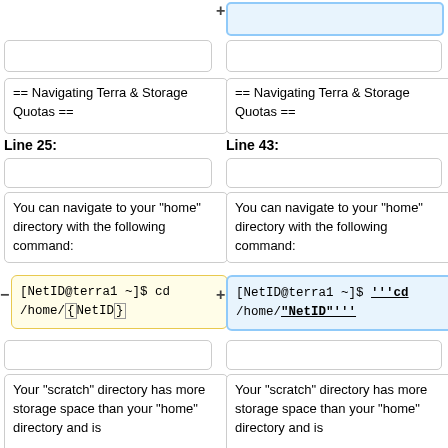[empty box top-right with + marker]
[empty box left]
[empty box right]
== Navigating Terra & Storage Quotas ==
== Navigating Terra & Storage Quotas ==
Line 25:
Line 43:
[empty box left]
[empty box right]
You can navigate to your "home" directory with the following command:
You can navigate to your "home" directory with the following command:
[NetID@terra1 ~]$ cd /home/{NetID}
[NetID@terra1 ~]$ '''cd /home/"NetID"'''
[empty box left]
[empty box right]
Your "scratch" directory has more storage space than your "home" directory and is
Your "scratch" directory has more storage space than your "home" directory and is